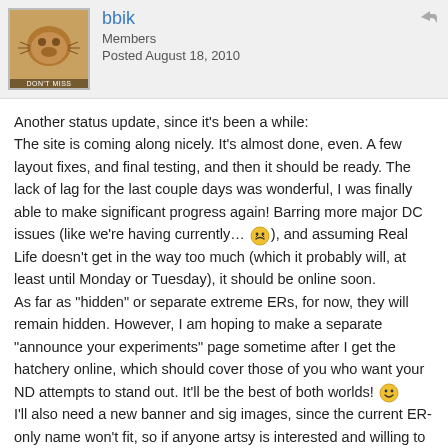bbik | Members | Posted August 18, 2010
Another status update, since it's been a while:
The site is coming along nicely. It's almost done, even. A few layout fixes, and final testing, and then it should be ready. The lack of lag for the last couple days was wonderful, I was finally able to make significant progress again! Barring more major DC issues (like we're having currently… 😠), and assuming Real Life doesn't get in the way too much (which it probably will, at least until Monday or Tuesday), it should be online soon.
As far as "hidden" or separate extreme ERs, for now, they will remain hidden. However, I am hoping to make a separate "announce your experiments" page sometime after I get the hatchery online, which should cover those of you who want your ND attempts to stand out. It'll be the best of both worlds! 🙂
I'll also need a new banner and sig images, since the current ER-only name won't fit, so if anyone artsy is interested and willing to put up with my picky specifications, please let me know!